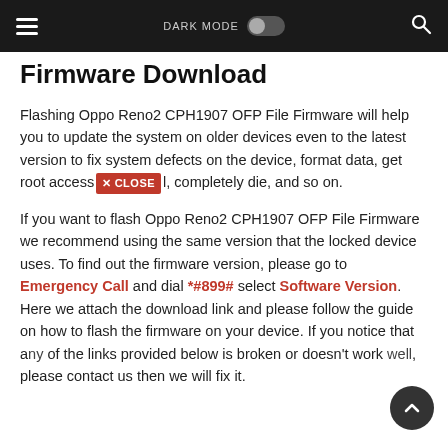DARK MODE [toggle] [search]
Firmware Download
Flashing Oppo Reno2 CPH1907 OFP File Firmware will help you to update the system on older devices even to the latest version to fix system defects on the device, format data, get root access [X CLOSE] l, completely die, and so on.
If you want to flash Oppo Reno2 CPH1907 OFP File Firmware we recommend using the same version that the locked device uses. To find out the firmware version, please go to Emergency Call and dial *#899# select Software Version. Here we attach the download link and please follow the guide on how to flash the firmware on your device. If you notice that any of the links provided below is broken or doesn't work well, please contact us then we will fix it.